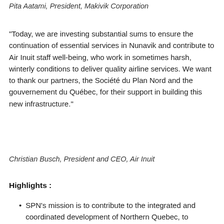Pita Aatami, President, Makivik Corporation
“Today, we are investing substantial sums to ensure the continuation of essential services in Nunavik and contribute to Air Inuit staff well-being, who work in sometimes harsh, winterly conditions to deliver quality airline services. We want to thank our partners, the Société du Plan Nord and the gouvernement du Québec, for their support in building this new infrastructure.”
Christian Busch, President and CEO, Air Inuit
Highlights :
SPN’s mission is to contribute to the integrated and coordinated development of Northern Quebec, to